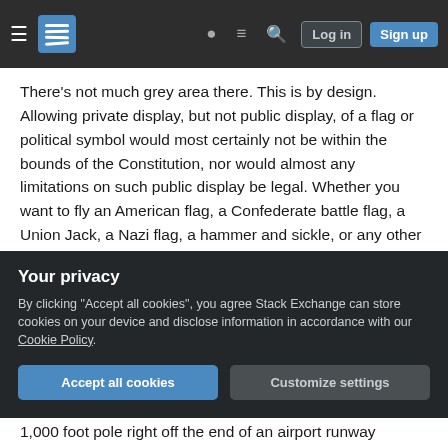Stack Exchange navigation bar with hamburger menu, logo, help, chat, search icons, Log in and Sign up buttons
There's not much grey area there. This is by design. Allowing private display, but not public display, of a flag or political symbol would most certainly not be within the bounds of the Constitution, nor would almost any limitations on such public display be legal. Whether you want to fly an American flag, a Confederate battle flag, a Union Jack, a Nazi flag, a hammer and sickle, or any other flag, it is perfectly legal to publicly do so in the United States and any law whose purpose is to the contrary would be unconstitutional.
Your privacy
By clicking "Accept all cookies", you agree Stack Exchange can store cookies on your device and disclose information in accordance with our Cookie Policy.
Accept all cookies
Customize settings
1,000 foot pole right off the end of an airport runway